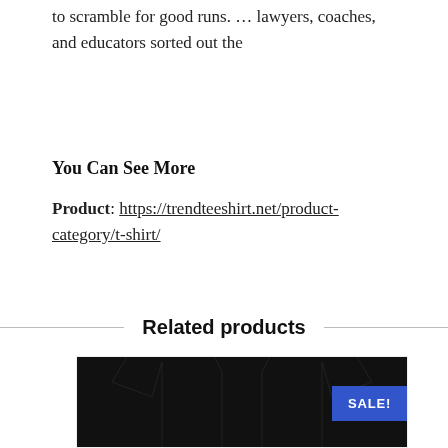to scramble for good runs. … lawyers, coaches, and educators sorted out the
You Can See More
Product: https://trendteeshirt.net/product-category/t-shirt/
Related products
[Figure (photo): A black t-shirt product photo with a SALE! badge in the bottom right corner]